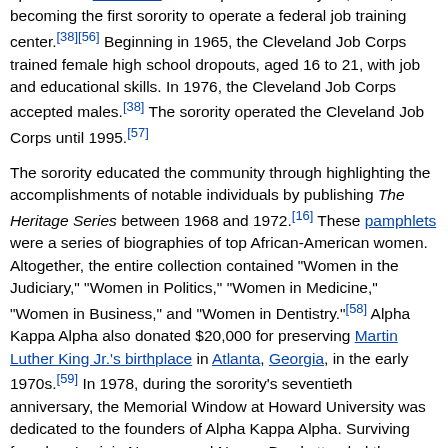1964 to January 1965. Alpha Kappa Alpha was awarded a $4 million grant (equivalent to $34.4 million in 2021) to operate the Cleveland Job Corps on February 12, 1965, becoming the first sorority to operate a federal job training center.[38][56] Beginning in 1965, the Cleveland Job Corps trained female high school dropouts, aged 16 to 21, with job and educational skills. In 1976, the Cleveland Job Corps accepted males.[38] The sorority operated the Cleveland Job Corps until 1995.[57]
The sorority educated the community through highlighting the accomplishments of notable individuals by publishing The Heritage Series between 1968 and 1972.[16] These pamphlets were a series of biographies of top African-American women. Altogether, the entire collection contained "Women in the Judiciary," "Women in Politics," "Women in Medicine," "Women in Business," and "Women in Dentistry."[58] Alpha Kappa Alpha also donated $20,000 for preserving Martin Luther King Jr.'s birthplace in Atlanta, Georgia, in the early 1970s.[59] In 1978, during the sorority's seventieth anniversary, the Memorial Window at Howard University was dedicated to the founders of Alpha Kappa Alpha. Surviving founders Lavinia Norman and Norma Boyd attended the celebration of unveiling the Memorial Window, designed by Lois Mailou Jones.[60]